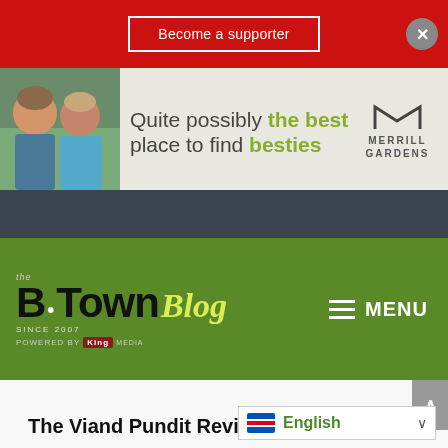[Figure (screenshot): Red banner with 'Become a supporter' button and close X button on right]
[Figure (screenshot): Advertisement banner: two elderly women, text 'Quite possibly the best place to find besties', Merrill Gardens logo]
[Figure (screenshot): Dark navigation bar strip]
[Figure (logo): B-Town Blog logo - Since 2007, green background, Powered by King Media, with MENU hamburger icon]
[Figure (screenshot): White content area with article beginning 'The Viand Pundit Review' and English language selector dropdown]
The Viand Pundit Review